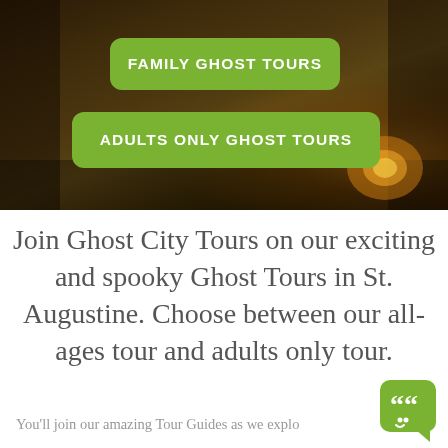[Figure (photo): Dark atmospheric background image of a wooded/dungeon scene with glowing orange torch light in the lower right area, overlaid with two green buttons: 'FAMILY GHOST TOURS' and 'ADULTS ONLY GHOST TOURS']
Join Ghost City Tours on our exciting and spooky Ghost Tours in St. Augustine. Choose between our all-ages tour and adults only tour.
You'll join our amazing Tour Guides as we explo...